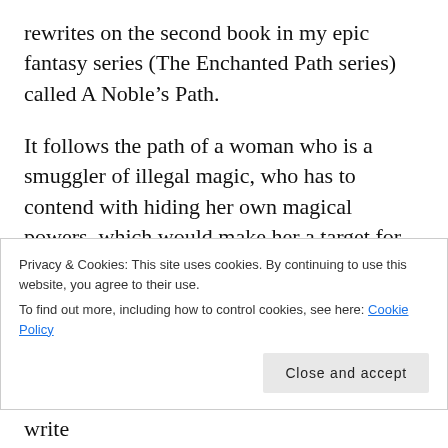rewrites on the second book in my epic fantasy series (The Enchanted Path series) called A Noble's Path.
It follows the path of a woman who is a smuggler of illegal magic, who has to contend with hiding her own magical powers, which would make her a target for other smuggler's looking for the perfect score and the royal family, who would label her a war criminal.
Privacy & Cookies: This site uses cookies. By continuing to use this website, you agree to their use.
To find out more, including how to control cookies, see here: Cookie Policy
Close and accept
Honestly, I have to motivate myself not to write